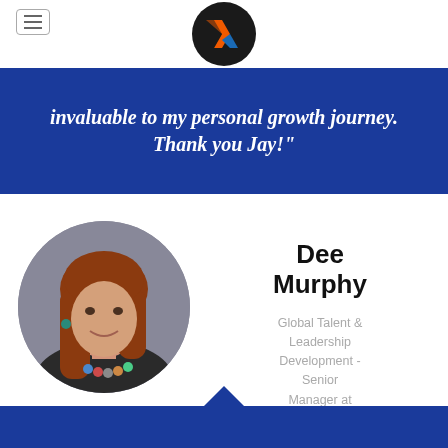[Figure (logo): Round black circle logo with orange and blue geometric arrow/chevron design]
invaluable to my personal growth journey. Thank you Jay!"
[Figure (photo): Circular portrait photo of a smiling woman with long auburn hair, wearing a colorful necklace]
Dee Murphy
Global Talent & Leadership Development - Senior Manager at Tesla